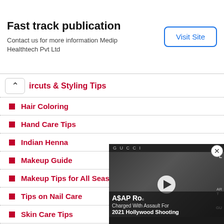Fast track publication
Contact us for more information Medip Healthtech Pvt Ltd
Haircuts & Styling Tips
Hair Coloring
Hand Care Tips
Indian Henna
Makeup Guide
Makeup Tips for All Seasons
Tips on Nail Care
Skin Care Tips
Beauty Products
Collectibles
Hairstyling Tips
Henna & Mehndi
[Figure (screenshot): Video player overlay showing a person at a GUCCI event with text: A$AP Rocky Charged With Assault For 2021 Hollywood Shooting]